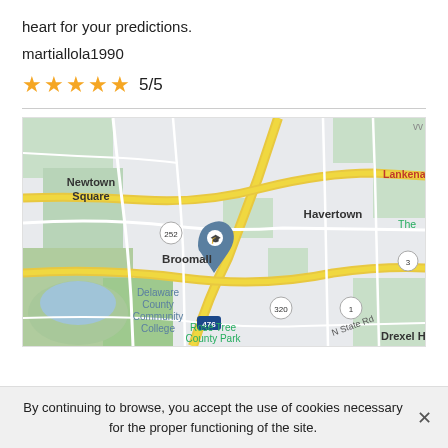heart for your predictions.
martiallola1990
★★★★★ 5/5
[Figure (map): Google Maps screenshot showing area around Broomall, Pennsylvania, including Newtown Square, Delaware County Community College, Havertown, Lankenau Medical, Rose Tree County Park, Drexel Hill, and route markers 252, 320, 476, 1, 3.]
By continuing to browse, you accept the use of cookies necessary for the proper functioning of the site.